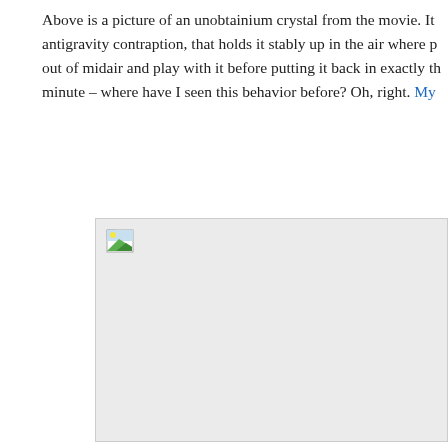Above is a picture of an unobtainium crystal from the movie. It antigravity contraption, that holds it stably up in the air where p out of midair and play with it before putting it back in exactly th minute – where have I seen this behavior before? Oh, right. My
[Figure (photo): A placeholder/broken image box with a broken image icon in the upper-left corner. The box has a light gray background and a thin border.]